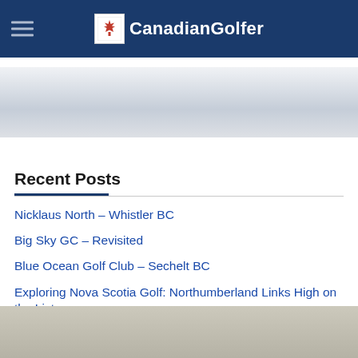CanadianGolfer
[Figure (illustration): Silver/grey gradient banner area below header]
Recent Posts
Nicklaus North – Whistler BC
Big Sky GC – Revisited
Blue Ocean Golf Club – Sechelt BC
Exploring Nova Scotia Golf: Northumberland Links High on the List
SQAIRZ and PinPal – a winning combo
[Figure (photo): Bottom sandy/earthy textured image strip]